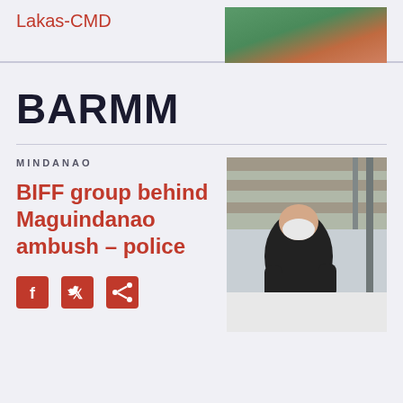Lakas-CMD
[Figure (photo): Photo of people, partially visible at top right]
BARMM
MINDANAO
BIFF group behind Maguindanao ambush – police
[Figure (photo): Man wearing a face mask leaning over a white surface in what appears to be a workshop or storage area with shelving]
[Figure (infographic): Social media share icons: Facebook, Twitter, Share]